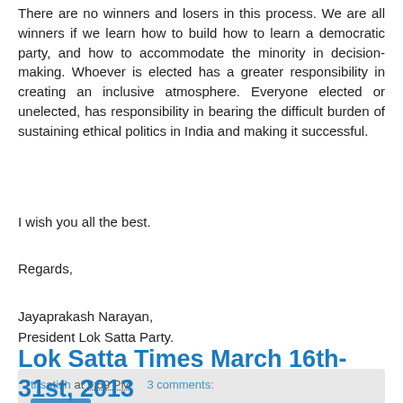There are no winners and losers in this process. We are all winners if we learn how to build how to learn a democratic party, and how to accommodate the minority in decision-making. Whoever is elected has a greater responsibility in creating an inclusive atmosphere. Everyone elected or unelected, has responsibility in bearing the difficult burden of sustaining ethical politics in India and making it successful.
I wish you all the best.
Regards,
Jayaprakash Narayan,
President Lok Satta Party.
tnsatish at 9:59 PM   3 comments:
Lok Satta Times March 16th-31st, 2013